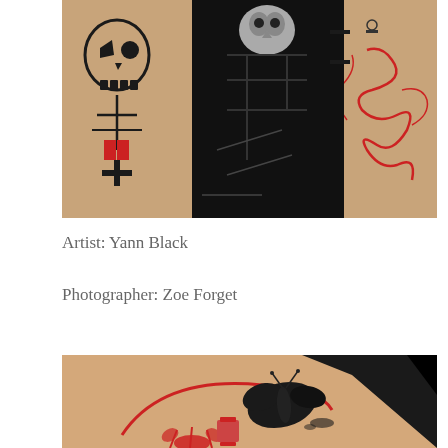[Figure (photo): Collage of tattoo photographs showing dark, black-work and red tattoos on skin: left shows skull design, center shows geometric black shapes, right shows anatomical heart with red veins.]
Artist: Yann Black
Photographer: Zoe Forget
[Figure (photo): Close-up photograph of a tattoo on skin showing a black butterfly or bird with red circular line design and red floral elements below, on a peach/skin-toned background with black fabric visible at top right.]